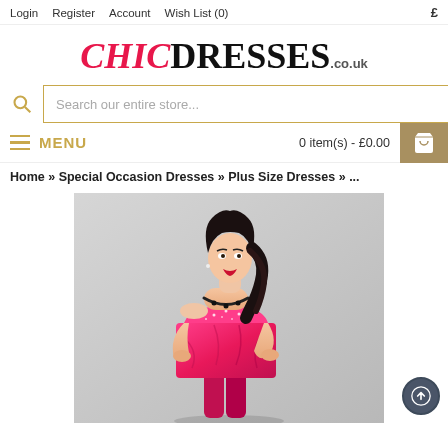Login   Register   Account   Wish List (0)   £
CHICDRESSES.co.uk
Search our entire store...
MENU   0 item(s) - £0.00
Home » Special Occasion Dresses » Plus Size Dresses » ...
[Figure (photo): A woman with dark wavy hair wearing a strapless hot pink/magenta fitted dress with embellishments, posing against a light grey background on an e-commerce website for ChicDresses.co.uk]